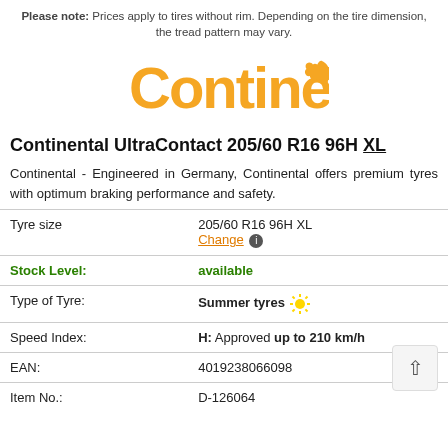Please note: Prices apply to tires without rim. Depending on the tire dimension, the tread pattern may vary.
[Figure (logo): Continental logo with horse in orange/amber color]
Continental UltraContact 205/60 R16 96H XL
Continental - Engineered in Germany, Continental offers premium tyres with optimum braking performance and safety.
| Tyre size | 205/60 R16 96H XL
Change ℹ |
| Stock Level: | available |
| Type of Tyre: | Summer tyres ☀ |
| Speed Index: | H: Approved up to 210 km/h |
| EAN: | 4019238066098 |
| Item No.: | D-126064 |